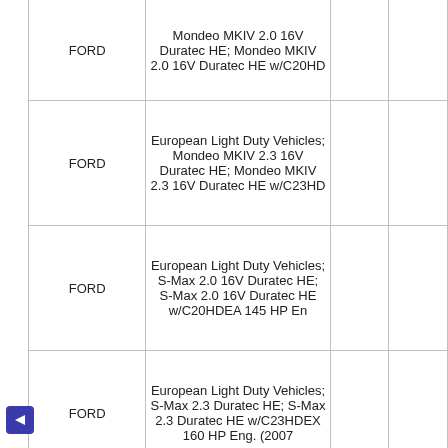|  |  |  |  |
| --- | --- | --- | --- |
| FORD | Mondeo MKIV 2.0 16V Duratec HE; Mondeo MKIV 2.0 16V Duratec HE w/C20HD |  |  |
| FORD | European Light Duty Vehicles; Mondeo MKIV 2.3 16V Duratec HE; Mondeo MKIV 2.3 16V Duratec HE w/C23HD |  |  |
| FORD | European Light Duty Vehicles; S-Max 2.0 16V Duratec HE; S-Max 2.0 16V Duratec HE w/C20HDEA 145 HP En |  |  |
| FORD | European Light Duty Vehicles; S-Max 2.3 Duratec HE; S-Max 2.3 Duratec HE w/C23HDEX 160 HP Eng. (2007 |  |  |
| FORD | European Light Duty Vehicles; Transit 2.3 16V CNG; Transit 2.3 16V CNG w/145 HP Eng. |  |  |